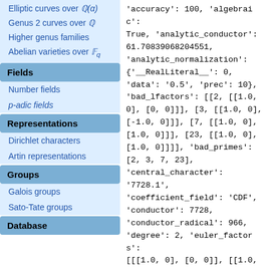Elliptic curves over Q(α)
Genus 2 curves over Q
Higher genus families
Abelian varieties over F_q
Fields
Number fields
p-adic fields
Representations
Dirichlet characters
Artin representations
Groups
Galois groups
Sato-Tate groups
Database
'accuracy': 100, 'algebraic': True, 'analytic_conductor': 61.70839068204551, 'analytic_normalization': {'__RealLiteral__': 0, 'data': '0.5', 'prec': 10}, 'bad_lfactors': [[2, [[1.0, 0], [0, 0]]], [3, [[1.0, 0], [-1.0, 0]]], [7, [[1.0, 0], [1.0, 0]]], [23, [[1.0, 0], [1.0, 0]]]], 'bad_primes': [2, 3, 7, 23], 'central_character': '7728.1', 'coefficient_field': 'CDF', 'conductor': 7728, 'conductor_radical': 966, 'degree': 2, 'euler_factors': [[[1.0, 0], [0, 0]], [[1.0, 0], [-1.0, 0]], [[1.0, 0],